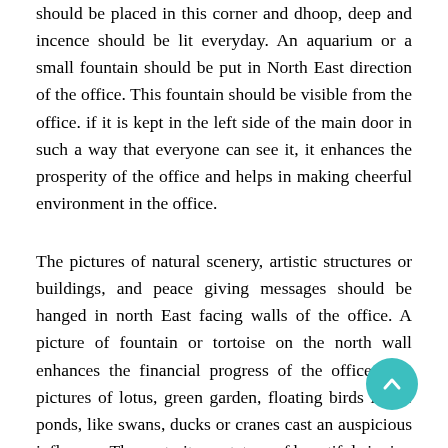should be placed in this corner and dhoop, deep and incense should be lit everyday. An aquarium or a small fountain should be put in North East direction of the office. This fountain should be visible from the office. if it is kept in the left side of the main door in such a way that everyone can see it, it enhances the prosperity of the office and helps in making cheerful environment in the office.
The pictures of natural scenery, artistic structures or buildings, and peace giving messages should be hanged in north East facing walls of the office. A picture of fountain or tortoise on the north wall enhances the financial progress of the office. The pictures of lotus, green garden, floating birds in the ponds, like swans, ducks or cranes cast an auspicious influence. The portraits or statues of beautiful singing or dancing ladies exhibiting different emotions also cast auspicious influence.